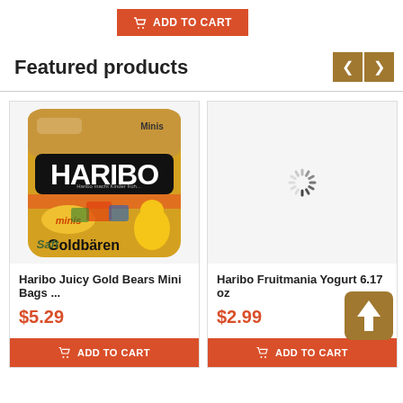[Figure (screenshot): Orange 'ADD TO CART' button with shopping cart icon at top of page]
Featured products
[Figure (photo): Haribo Juicy Gold Bears Mini Bags product photo — gold bag with Haribo branding, Goldbären/minis text]
Haribo Juicy Gold Bears Mini Bags ...
$5.29
[Figure (screenshot): ADD TO CART button for Haribo Juicy Gold Bears]
[Figure (photo): Loading spinner placeholder for Haribo Fruitmania Yogurt 6.17 oz product image]
Haribo Fruitmania Yogurt 6.17 oz
$2.99
[Figure (screenshot): ADD TO CART button for Haribo Fruitmania Yogurt with upload icon overlay]